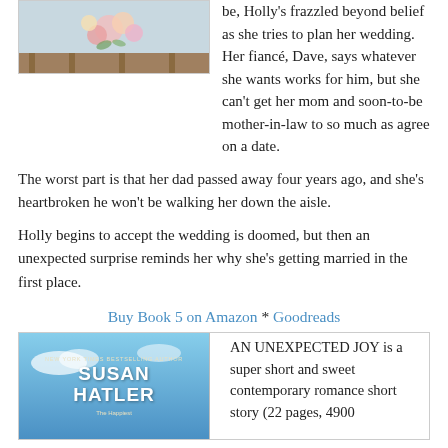[Figure (photo): Book cover top portion showing flowers and 'Montana Dreams Series' label]
be, Holly's frazzled beyond belief as she tries to plan her wedding. Her fiancé, Dave, says whatever she wants works for him, but she can't get her mom and soon-to-be mother-in-law to so much as agree on a date.
The worst part is that her dad passed away four years ago, and she's heartbroken he won't be walking her down the aisle.
Holly begins to accept the wedding is doomed, but then an unexpected surprise reminds her why she's getting married in the first place.
Buy Book 5 on Amazon * Goodreads
[Figure (photo): Book cover for 'The Happiest' by Susan Hatler, New York Times Bestselling Author, with blue sky background]
AN UNEXPECTED JOY is a super short and sweet contemporary romance short story (22 pages, 4900